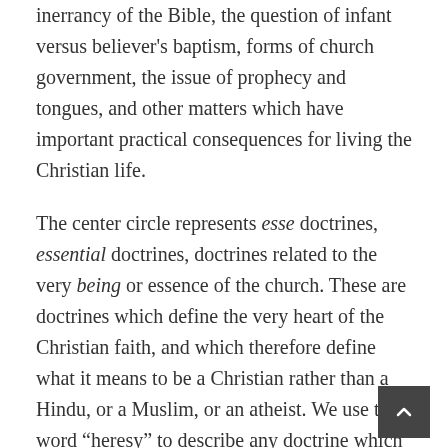inerrancy of the Bible, the question of infant versus believer's baptism, forms of church government, the issue of prophecy and tongues, and other matters which have important practical consequences for living the Christian life.
The center circle represents esse doctrines, essential doctrines, doctrines related to the very being or essence of the church. These are doctrines which define the very heart of the Christian faith, and which therefore define what it means to be a Christian rather than a Hindu, or a Muslim, or an atheist. We use the word “heresy” to describe any doctrine which denies or contradicts an esse doctrine. A person who knowingly and